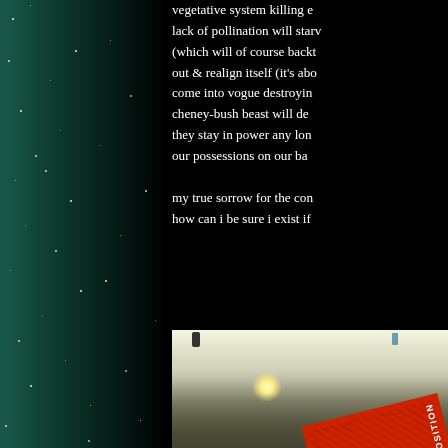[Figure (photo): Left side starfield/night sky strip with teal/dark green tones and white star dots]
vegetative system killing e... lack of pollination will starv... (which will of course backt... out & realign itself (it's abo... come into vogue destroyin... cheney-bush beast will de... they stay in power any lon... our possessions on our ba...

my true sorrow for the con... how can i be sure i exist if...
[Figure (photo): Indoor tunnel/corridor scene with bright light, a figure in background, floor, and a red composition notebook in foreground]